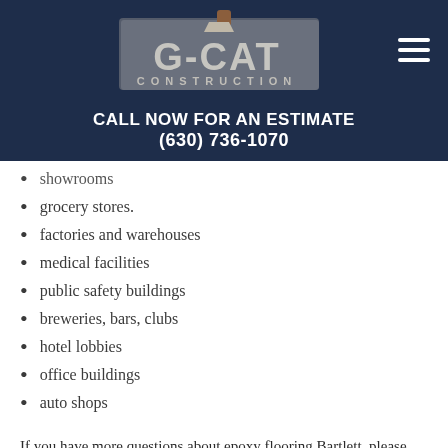[Figure (logo): G-CAT Construction logo with trowel graphic on dark navy background]
CALL NOW FOR AN ESTIMATE
(630) 736-1070
showrooms
grocery stores.
factories and warehouses
medical facilities
public safety buildings
breweries, bars, clubs
hotel lobbies
office buildings
auto shops
If you have more questions about epoxy flooring Bartlett, please contact G-Cat Contractors today!
HOW MUCH DOES IT COST TO INSTALL EPOXY FLOORING?
The cost of epoxy flooring in Illinois ranges from $5.30 to